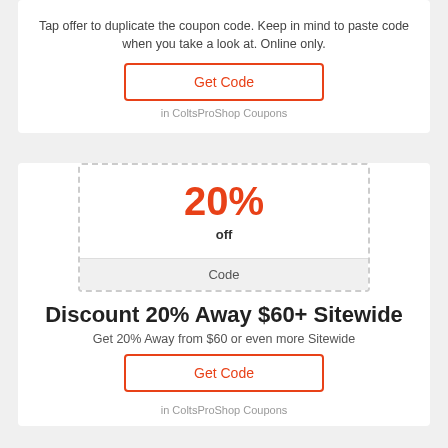Tap offer to duplicate the coupon code. Keep in mind to paste code when you take a look at. Online only.
Get Code
in ColtsProShop Coupons
[Figure (infographic): Coupon box showing 20% off with a code section at the bottom]
Discount 20% Away $60+ Sitewide
Get 20% Away from $60 or even more Sitewide
Get Code
in ColtsProShop Coupons